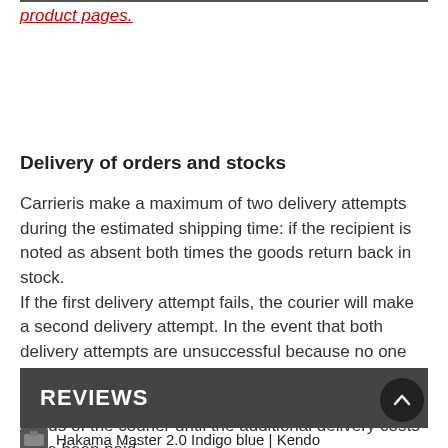product pages.
Delivery of orders and stocks
Carrieris make a maximum of two delivery attempts during the estimated shipping time: if the recipient is noted as absent both times the goods return back in stock. If the first delivery attempt fails, the courier will make a second delivery attempt. In the event that both delivery attempts are unsuccessful because no one collects the goods, we reserve the right to charge any additional delivery costs. The goods will remain in the hands of the courier until the additional delivery costs have been paid.
REVIEWS
Hakama Master 2.0 Indigo blue | Kendo